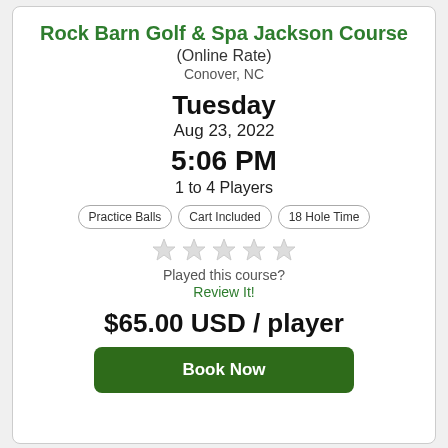Rock Barn Golf & Spa Jackson Course (Online Rate)
Conover, NC
Tuesday
Aug 23, 2022
5:06 PM
1 to 4 Players
Practice Balls
Cart Included
18 Hole Time
[Figure (other): Five empty star rating icons]
Played this course?
Review It!
$65.00 USD / player
Book Now